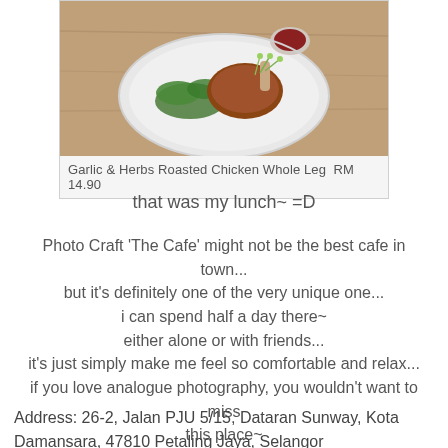[Figure (photo): Food photo: roasted chicken whole leg on a white plate with greens and a small bowl of sauce, on a wooden table background]
Garlic & Herbs Roasted Chicken Whole Leg  RM 14.90
that was my lunch~ =D
Photo Craft 'The Cafe' might not be the best cafe in town...
but it's definitely one of the very unique one...
i can spend half a day there~
either alone or with friends...
it's just simply make me feel so comfortable and relax...
if you love analogue photography, you wouldn't want to miss this place~
if you love good food, good coffee and good coffee...
more so you shouldn't miss this place... =P
Address: 26-2, Jalan PJU 5/15, Dataran Sunway, Kota Damansara, 47810 Petaling Jaya, Selangor